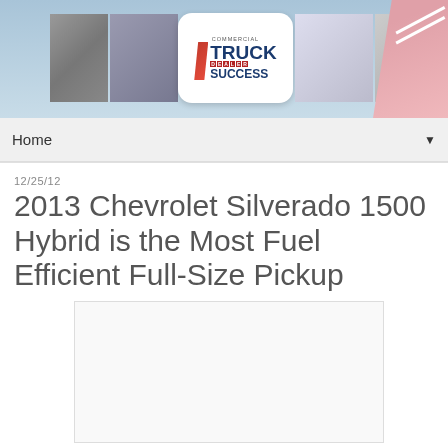[Figure (illustration): Commercial Truck Dealer Success website header banner with truck images and logo]
Home ▼
12/25/12
2013 Chevrolet Silverado 1500 Hybrid is the Most Fuel Efficient Full-Size Pickup
[Figure (photo): Image placeholder - white box with border]